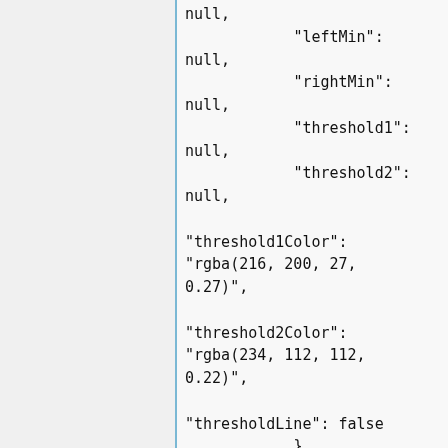null,
            "leftMin": null,
            "rightMin": null,
            "threshold1": null,
            "threshold2": null,

"threshold1Color": "rgba(216, 200, 27, 0.27)",

"threshold2Color": "rgba(234, 112, 112, 0.22)",

"thresholdLine": false
            },
            "resolution": 100,
            "lines": true,
            "fill": 1,
            "linewidth": 0